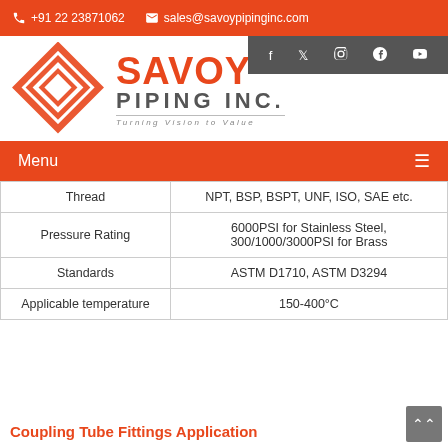+91 22 23871062   sales@savoypipinginc.com
[Figure (logo): Savoy Piping Inc. logo with orange diamond geometric icon and company name]
Menu
| Property | Value |
| --- | --- |
| Thread | NPT, BSP, BSPT, UNF, ISO, SAE etc. |
| Pressure Rating | 6000PSI for Stainless Steel, 300/1000/3000PSI for Brass |
| Standards | ASTM D1710, ASTM D3294 |
| Applicable temperature | 150-400°C |
Coupling Tube Fittings Application